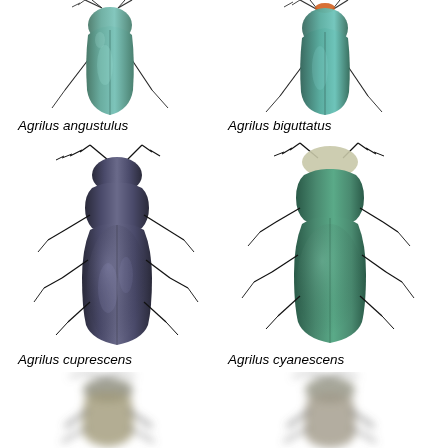[Figure (photo): Dorsal view of Agrilus angustulus beetle, top portion cropped, showing metallic blue-green elongated body with antennae]
[Figure (photo): Dorsal view of Agrilus biguttatus beetle, top portion cropped, showing metallic blue-green elongated body with orange tip and antennae]
Agrilus angustulus
Agrilus biguttatus
[Figure (photo): Full dorsal view of Agrilus cuprescens beetle, dark metallic grey-brown elongated body with orange head spots, serrated antennae and six legs]
[Figure (photo): Full dorsal view of Agrilus cyanescens beetle, metallic blue-green elongated body with pale head, long antennae and six legs]
Agrilus cuprescens
Agrilus cyanescens
[Figure (photo): Blurred partial dorsal view of beetle at bottom left, brownish coloration, antennae visible]
[Figure (photo): Blurred partial dorsal view of beetle at bottom right, brownish coloration, antennae visible]